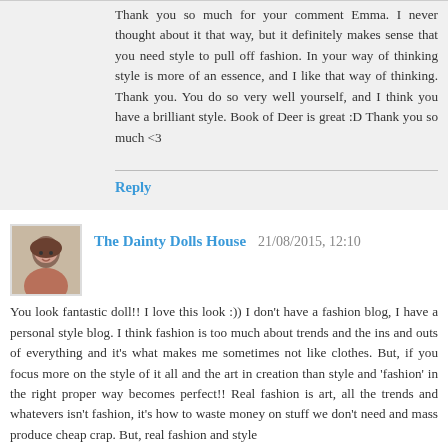Thank you so much for your comment Emma. I never thought about it that way, but it definitely makes sense that you need style to pull off fashion. In your way of thinking style is more of an essence, and I like that way of thinking. Thank you. You do so very well yourself, and I think you have a brilliant style. Book of Deer is great :D Thank you so much <3
Reply
The Dainty Dolls House  21/08/2015, 12:10
You look fantastic doll!! I love this look :)) I don't have a fashion blog, I have a personal style blog. I think fashion is too much about trends and the ins and outs of everything and it's what makes me sometimes not like clothes. But, if you focus more on the style of it all and the art in creation than style and 'fashion' in the right proper way becomes perfect!! Real fashion is art, all the trends and whatevers isn't fashion, it's how to waste money on stuff we don't need and mass produce cheap crap. But, real fashion and style